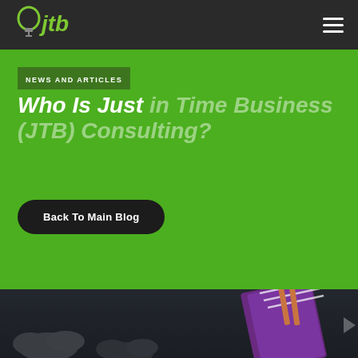JTB (Just in Time Business Consulting) - navigation bar with logo and hamburger menu
NEWS AND ARTICLES
Who Is Just in Time Business (JTB) Consulting?
Back To Main Blog
[Figure (illustration): Dark night sky illustration with grey clouds and a purple notebook/journal with pencils, partially visible at bottom of page]